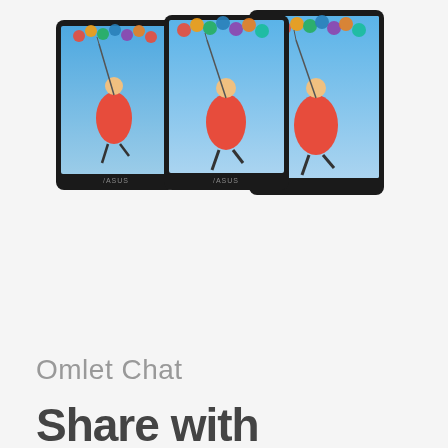[Figure (photo): Three ASUS tablets displayed side by side, each showing a photo of a girl in a red dress holding colorful balloons against a blue sky. The tablets are arranged with two smaller ones in front and a larger one slightly behind on the right.]
Omlet Chat
Share with